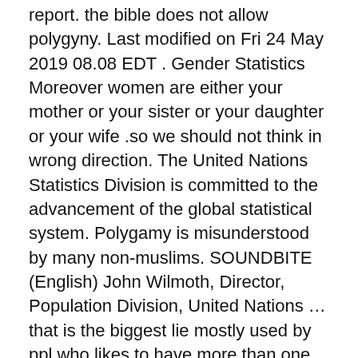report. the bible does not allow polygyny. Last modified on Fri 24 May 2019 08.08 EDT . Gender Statistics Moreover women are either your mother or your sister or your daughter or your wife .so we should not think in wrong direction. The United Nations Statistics Division is committed to the advancement of the global statistical system. Polygamy is misunderstood by many non-muslims. SOUNDBITE (English) John Wilmoth, Director, Population Division, United Nations … that is the biggest lie mostly used by ppl who likes to have more than one wives…. UN and International Institutions; Additional partnerships . Chinese. Population and Vital Statistics Report Statistical Papers Series A Vol. Wide shot, UNHQ exterior 17 JUNE 2019, NEW YORK CITY 2. Get Involved. Since 2013, there have been sightly more males than females. United Nations Report 2019. Google world demographics you will get the correct statistics. After that move down to first schools class rooms you will see it clearly there too